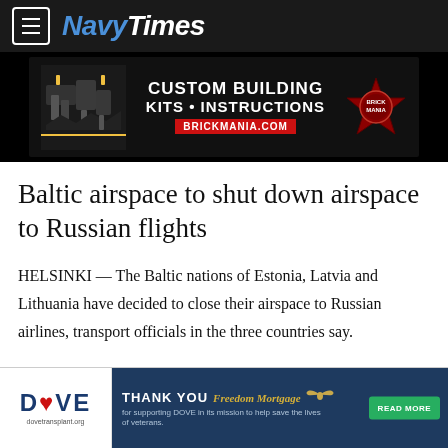NavyTimes
[Figure (other): Advertisement banner for Brickmania.com: Custom Building Kits • Instructions]
Baltic airspace to shut down airspace to Russian flights
HELSINKI — The Baltic nations of Estonia, Latvia and Lithuania have decided to close their airspace to Russian airlines, transport officials in the three countries say.
[Figure (other): Advertisement banner: DOVE dovetransplant.org — THANK YOU Freedom Mortgage for supporting DOVE in its mission to help save the lives of veterans. READ MORE]